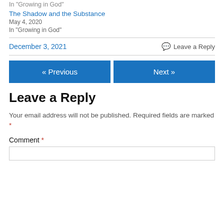In "Growing in God"
The Shadow and the Substance
May 4, 2020
In "Growing in God"
December 3, 2021
Leave a Reply
« Previous
Next »
Leave a Reply
Your email address will not be published. Required fields are marked *
Comment *